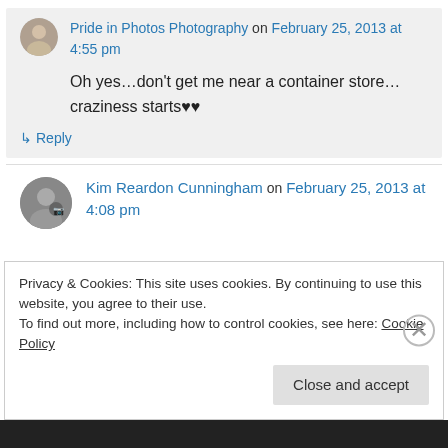Pride in Photos Photography on February 25, 2013 at 4:55 pm
Oh yes…don't get me near a container store…craziness starts♥♥
↳ Reply
Kim Reardon Cunningham on February 25, 2013 at 4:08 pm
Privacy & Cookies: This site uses cookies. By continuing to use this website, you agree to their use.
To find out more, including how to control cookies, see here: Cookie Policy
Close and accept